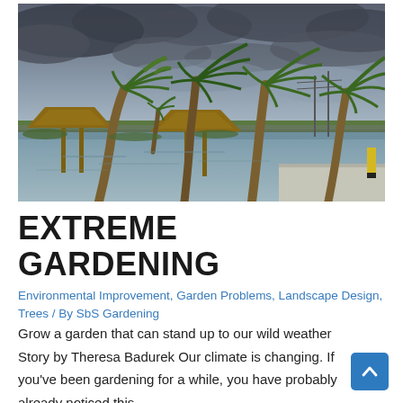[Figure (photo): Photo of palm trees bending in strong wind during a storm, with flooded ground, thatched hut roofs visible, and an overcast sky. Scene is tropical with flood water visible in the foreground.]
EXTREME GARDENING
Environmental Improvement, Garden Problems, Landscape Design, Trees / By SbS Gardening
Grow a garden that can stand up to our wild weather Story by Theresa Badurek Our climate is changing. If you've been gardening for a while, you have probably already noticed this.